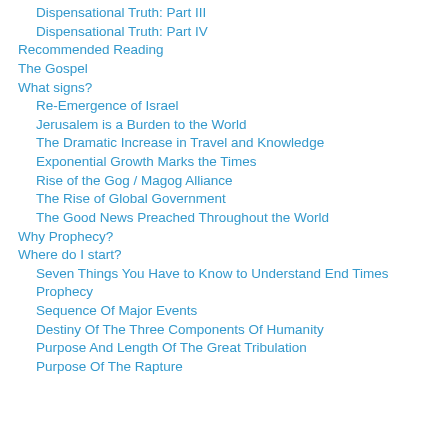Dispensational Truth: Part III
Dispensational Truth: Part IV
Recommended Reading
The Gospel
What signs?
Re-Emergence of Israel
Jerusalem is a Burden to the World
The Dramatic Increase in Travel and Knowledge
Exponential Growth Marks the Times
Rise of the Gog / Magog Alliance
The Rise of Global Government
The Good News Preached Throughout the World
Why Prophecy?
Where do I start?
Seven Things You Have to Know to Understand End Times Prophecy
Sequence Of Major Events
Destiny Of The Three Components Of Humanity
Purpose And Length Of The Great Tribulation
Purpose Of The Rapture